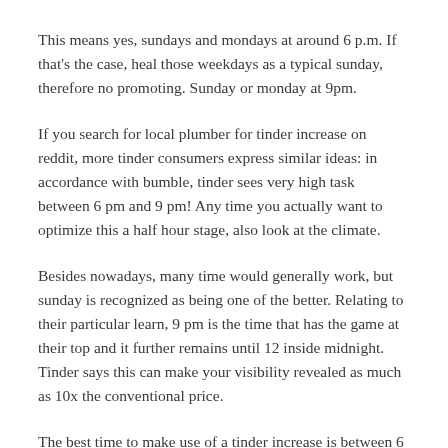This means yes, sundays and mondays at around 6 p.m. If that's the case, heal those weekdays as a typical sunday, therefore no promoting. Sunday or monday at 9pm.
If you search for local plumber for tinder increase on reddit, more tinder consumers express similar ideas: in accordance with bumble, tinder sees very high task between 6 pm and 9 pm! Any time you actually want to optimize this a half hour stage, also look at the climate.
Besides nowadays, many time would generally work, but sunday is recognized as being one of the better. Relating to their particular learn, 9 pm is the time that has the game at their top and it further remains until 12 inside midnight. Tinder says this can make your visibility revealed as much as 10x the conventional price.
The best time to make use of a tinder increase is between 6 pm